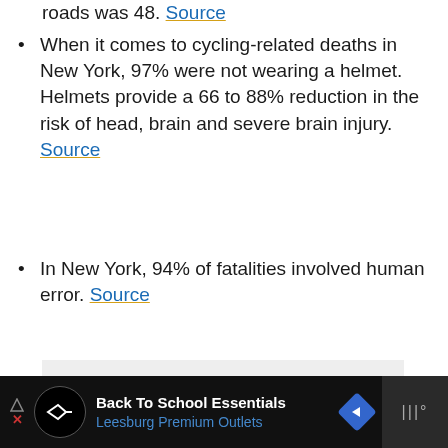roads was 48. Source
When it comes to cycling-related deaths in New York, 97% were not wearing a helmet. Helmets provide a 66 to 88% reduction in the risk of head, brain and severe brain injury. Source
In New York, 94% of fatalities involved human error. Source
[Figure (other): Gray shaded content box area below the bullet points]
Back To School Essentials Leesburg Premium Outlets